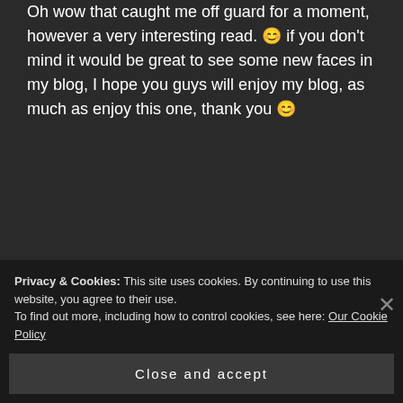Oh wow that caught me off guard for a moment, however a very interesting read. 😊 if you don't mind it would be great to see some new faces in my blog, I hope you guys will enjoy my blog, as much as enjoy this one, thank you 😊
★ Liked by 8 people
ANEESHAAKTER says:
October 27, 2015 at 1:47 pm
Privacy & Cookies: This site uses cookies. By continuing to use this website, you agree to their use.
To find out more, including how to control cookies, see here: Our Cookie Policy
Close and accept